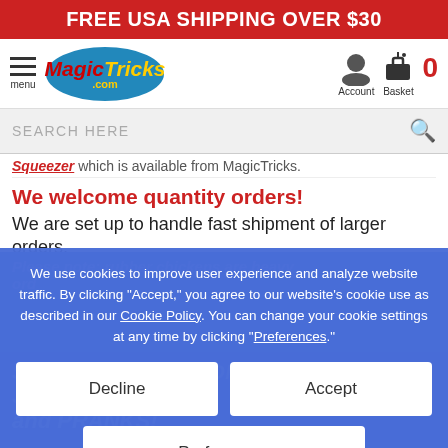FREE USA SHIPPING OVER $30
[Figure (logo): MagicTricks.com logo in blue oval with red 'Magic' and yellow 'Tricks' text]
SEARCH HERE
Squeezer which is available from MagicTricks.
We welcome quantity orders!
We are set up to handle fast shipment of larger orders, such as you ti
We use cookies to improve user experience and analyze website traffic. By clicking “Accept,” you agree to our website’s cookie use as described in our Cookie Policy. You can change your cookie settings at any time by clicking “Preferences.”
Decline
Accept
Preferences
SEE OUR SELECTION OF PRACTICAL JOKES and PRANKS!